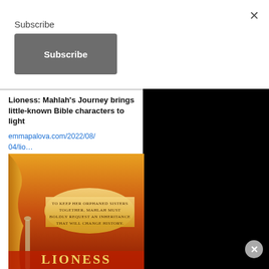×
Subscribe
Subscribe
Lioness: Mahlah's Journey brings little-known Bible characters to light
emmapalova.com/2022/08/04/lio…
[Figure (illustration): Book cover for Lioness showing a golden/sunset background with a scroll and text reading: TO KEEP HER ORPHANED SISTERS TOGETHER, MAHLAH MUST BOLDLY REQUEST AN INHERITANCE THAT WILL CHANGE HISTORY. LIONESS text at the bottom.]
[Figure (other): Black panel on right side of page]
Advertisements
[Figure (other): WordPress.com advertisement banner with blue background, WordPress logo, text WordPress.com, and a pink button reading Build Your Website]